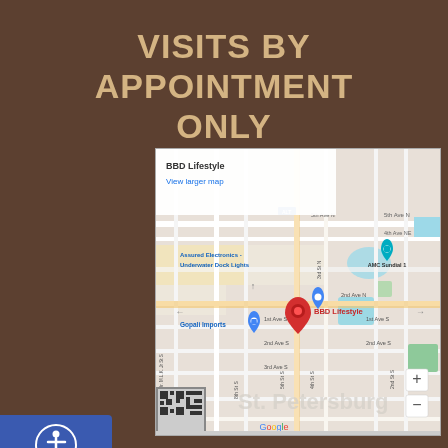VISITS BY APPOINTMENT ONLY
[Figure (map): Google Maps screenshot showing BBD Lifestyle location in St. Petersburg, FL. Map shows nearby landmarks: Assured Electronics - Underwater Dock Lights, Gopali Imports, AMC Sundial 1, The Dalí (Salvador Dalí Museum). A red map pin marks BBD Lifestyle. Streets visible include 1st Ave S, 2nd Ave S, 3rd Ave S, 4th St S, 5th St S, 8th St S, Dr. M.L.K. Jr St S, 2nd Ave N, 3rd Ave N, 4th Ave NE, 5th Ave N. Zoom controls (+/-) visible in bottom right. Google logo at bottom center. Map info panel at top shows 'BBD Lifestyle' and 'View larger map'. Accessibility icon (person in circle) visible on left edge.]